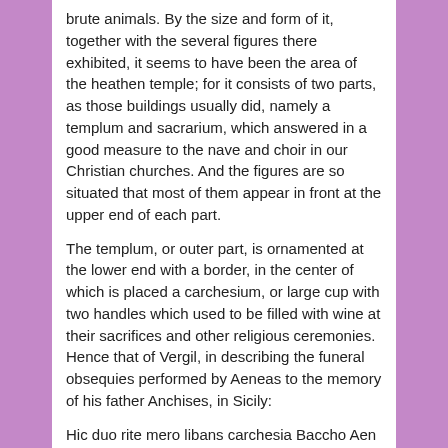brute animals. By the size and form of it, together with the several figures there exhibited, it seems to have been the area of the heathen temple; for it consists of two parts, as those buildings usually did, namely a templum and sacrarium, which answered in a good measure to the nave and choir in our Christian churches. And the figures are so situated that most of them appear in front at the upper end of each part.
The templum, or outer part, is ornamented at the lower end with a border, in the center of which is placed a carchesium, or large cup with two handles which used to be filled with wine at their sacrifices and other religious ceremonies. Hence that of Vergil, in describing the funeral obsequies performed by Aeneas to the memory of his father Anchises, in Sicily:
Hic duo rite mero libans carchesia Baccho Aen V.77. This cup is supported by two sea monsters, one on each side, with fins on their shoulders like wings and fishes tails. Behind each of these is a dolphin, and two conchae, or shell fishes. Opposite to this border, at the upper end, is another like it, which has also a cup of the same form, supported by two panthers.
The emblematical figures which adorn the sacrarium seem most probably relate to the worship of the Sun. In the center stands Orpheus playing on his harp; who was said to be the son of Apollo, the god of music, by the muse Calliope. Around them are placed four female figures, each riding upon a